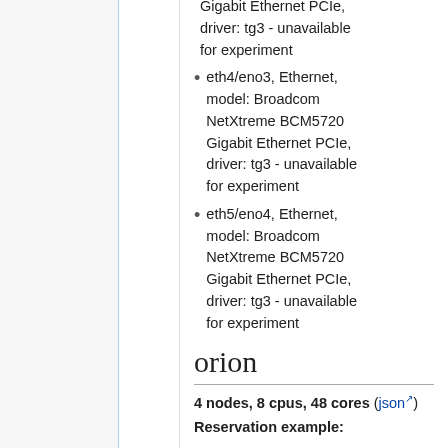Gigabit Ethernet PCIe, driver: tg3 - unavailable for experiment
eth4/eno3, Ethernet, model: Broadcom NetXtreme BCM5720 Gigabit Ethernet PCIe, driver: tg3 - unavailable for experiment
eth5/eno4, Ethernet, model: Broadcom NetXtreme BCM5720 Gigabit Ethernet PCIe, driver: tg3 - unavailable for experiment
orion
4 nodes, 8 cpus, 48 cores (json)
Reservation example: